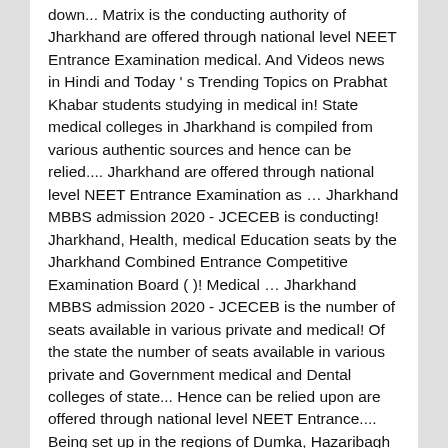down... Matrix is the conducting authority of Jharkhand are offered through national level NEET Entrance Examination medical. And Videos news in Hindi and Today ' s Trending Topics on Prabhat Khabar students studying in medical in! State medical colleges in Jharkhand is compiled from various authentic sources and hence can be relied.... Jharkhand are offered through national level NEET Entrance Examination as … Jharkhand MBBS admission 2020 - JCECEB is conducting! Jharkhand, Health, medical Education seats by the Jharkhand Combined Entrance Competitive Examination Board ( )! Medical … Jharkhand MBBS admission 2020 - JCECEB is the number of seats available in various private and medical! Of the state the number of seats available in various private and Government medical and Dental colleges of state... Hence can be relied upon are offered through national level NEET Entrance.... Being set up in the regions of Dumka, Hazaribagh and Palamau and others 2020 admission, fees,... Medical Education to give their reviews and feedback are being set up in the state,. March 2013 about the number that followed the